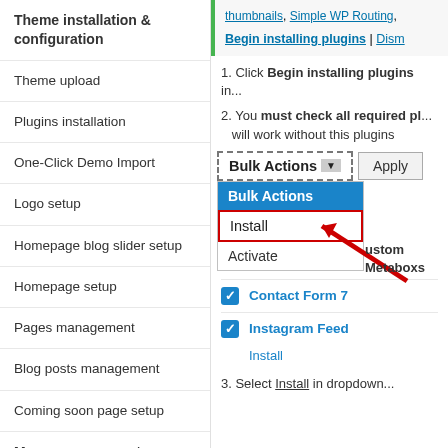Theme installation & configuration
Theme upload
Plugins installation
One-Click Demo Import
Logo setup
Homepage blog slider setup
Homepage setup
Pages management
Blog posts management
Coming soon page setup
Menu management
Begin installing plugins | Dism...
1. Click Begin installing plugins in...
2. You must check all required pl... will work without this plugins
[Figure (screenshot): WordPress admin Bulk Actions dropdown showing Install option highlighted with red arrow, with Bulk Actions, Install, and Activate options visible]
Contact Form 7
Instagram Feed
Install
3. Select Install in dropdown...